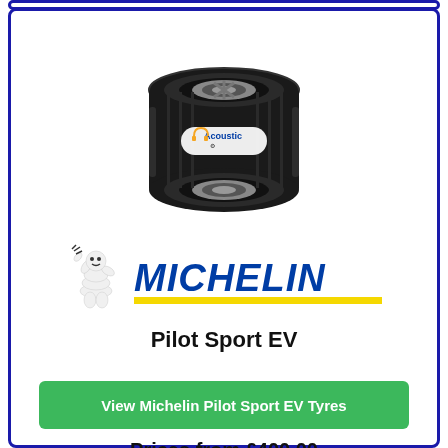[Figure (photo): Michelin Pilot Sport EV tyre with Acoustic label badge overlay, viewed from an angle showing tread and sidewall]
[Figure (logo): Michelin logo: Bibendum mascot (Michelin Man) waving on left, MICHELIN text in bold blue italic letters on right, yellow underline bar beneath]
Pilot Sport EV
View Michelin Pilot Sport EV Tyres
Prices from £400.00